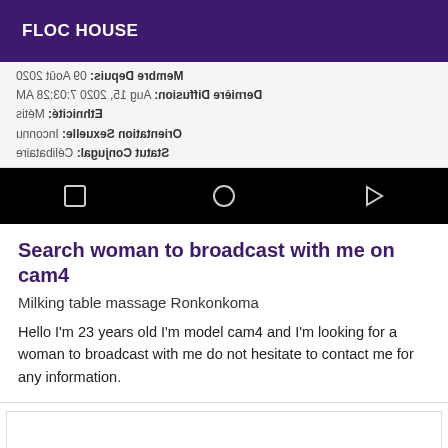FLOC HOUSE
Membre Depuis: 09 Août 2020
Dernière Diffusion: Aug 15, 2020 7:03:28 AM
Ethnicité: Métis
Orientation Sexuelle: Inconnu
Statut Conjugal: Célibataire
[Figure (screenshot): Android navigation bar with square, circle, and triangle (back/home/recents) icons on black background]
Search woman to broadcast with me on cam4
Milking table massage Ronkonkoma
Hello I'm 23 years old I'm model cam4 and I'm looking for a woman to broadcast with me do not hesitate to contact me for any information.